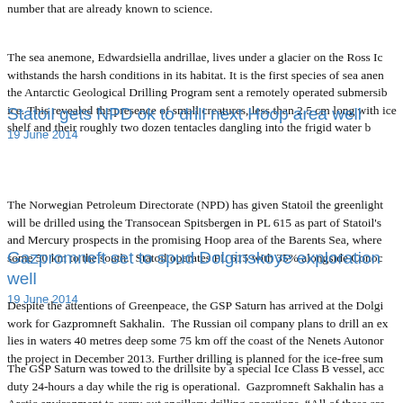number that are already known to science.
The sea anemone, Edwardsiella andrillae, lives under a glacier on the Ross Ic withstands the harsh conditions in its habitat. It is the first species of sea anen the Antarctic Geological Drilling Program sent a remotely operated submersib ice. This revealed the presence of small creatures, less than 2.5 cm long with ice shelf and their roughly two dozen tentacles dangling into the frigid water b
Statoil gets NPD ok to drill next Hoop area well
19 June 2014
The Norwegian Petroleum Directorate (NPD) has given Statoil the greenlight will be drilled using the Transocean Spitsbergen in PL 615 as part of Statoil's and Mercury prospects in the promising Hoop area of the Barents Sea, where some 50 km to the south.  Statoil operates PL 615 with 35% alongside Conoc
Gazpromneft set to spud Dolginskoye exploration well
19 June 2014
Despite the attentions of Greenpeace, the GSP Saturn has arrived at the Dolgi work for Gazpromneft Sakhalin.  The Russian oil company plans to drill an ex lies in waters 40 metres deep some 75 km off the coast of the Nenets Autonor the project in December 2013. Further drilling is planned for the ice-free sum
The GSP Saturn was towed to the drillsite by a special Ice Class B vessel, acc duty 24-hours a day while the rig is operational.  Gazpromneft Sakhalin has a Arctic environment to carry out ancillary drilling operations. "All of these are